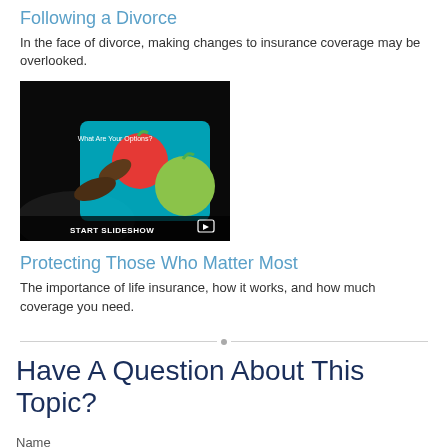Following a Divorce
In the face of divorce, making changes to insurance coverage may be overlooked.
[Figure (photo): A person touching a tablet screen showing colorful health options, with 'START SLIDESHOW' text overlay at the bottom.]
Protecting Those Who Matter Most
The importance of life insurance, how it works, and how much coverage you need.
Have A Question About This Topic?
Name